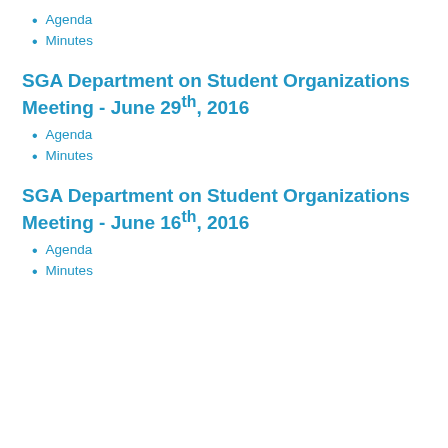SGA Department on Student Organizations Meeting - June 29th, 2016
Agenda
Minutes
SGA Department on Student Organizations Meeting - June 16th, 2016
Agenda
Minutes